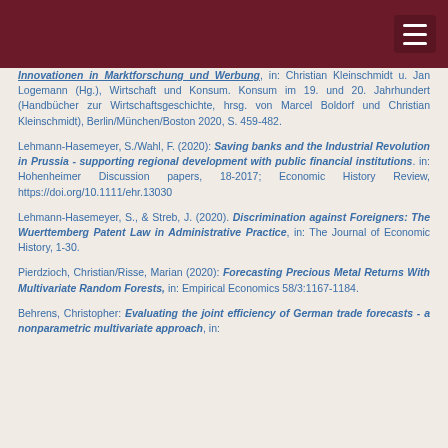Innovationen in Marktforschung und Werbung, in: Christian Kleinschmidt u. Jan Logemann (Hg.), Wirtschaft und Konsum. Konsum im 19. und 20. Jahrhundert (Handbücher zur Wirtschaftsgeschichte, hrsg. von Marcel Boldorf und Christian Kleinschmidt), Berlin/München/Boston 2020, S. 459-482.
Lehmann-Hasemeyer, S./Wahl, F. (2020): Saving banks and the Industrial Revolution in Prussia - supporting regional development with public financial institutions. in: Hohenheimer Discussion papers, 18-2017; Economic History Review, https://doi.org/10.1111/ehr.13030
Lehmann-Hasemeyer, S., & Streb, J. (2020). Discrimination against Foreigners: The Wuerttemberg Patent Law in Administrative Practice, in: The Journal of Economic History, 1-30.
Pierdzioch, Christian/Risse, Marian (2020): Forecasting Precious Metal Returns With Multivariate Random Forests, in: Empirical Economics 58/3:1167-1184.
Behrens, Christopher: Evaluating the joint efficiency of German trade forecasts - a nonparametric multivariate approach, in: